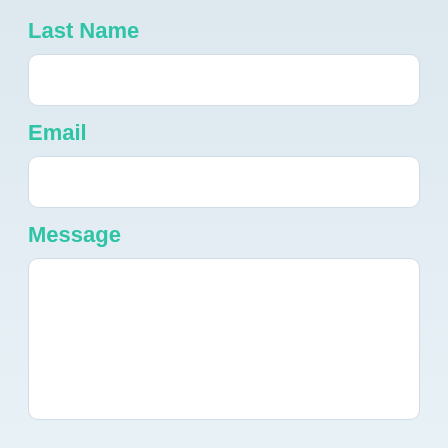Last Name
[Figure (other): Empty text input field for Last Name]
Email
[Figure (other): Empty text input field for Email]
Message
[Figure (other): Empty large textarea input field for Message]